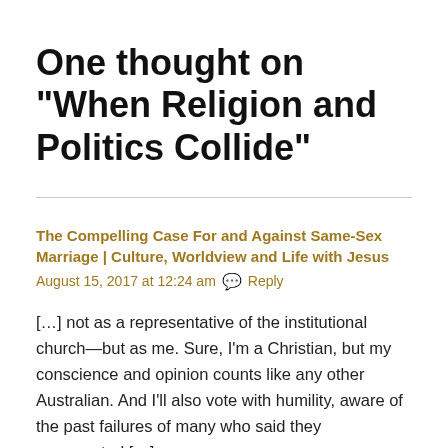One thought on “When Religion and Politics Collide”
The Compelling Case For and Against Same-Sex Marriage | Culture, Worldview and Life with Jesus
August 15, 2017 at 12:24 am  💬 Reply
[…] not as a representative of the institutional church—but as me. Sure, I’m a Christian, but my conscience and opinion counts like any other Australian. And I’ll also vote with humility, aware of the past failures of many who said they represented […]